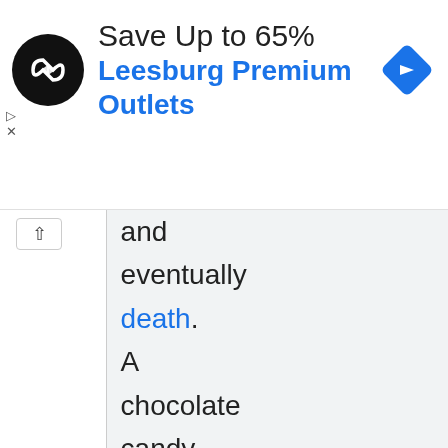[Figure (screenshot): Advertisement banner for Leesburg Premium Outlets showing a circular black logo with double arrow symbol, text 'Save Up to 65%' and 'Leesburg Premium Outlets' in blue, and a blue diamond navigation icon on the right. Ad control icons (play and close) appear on the left edge.]
and eventually death. A chocolate candy bar can be sufficient to make a